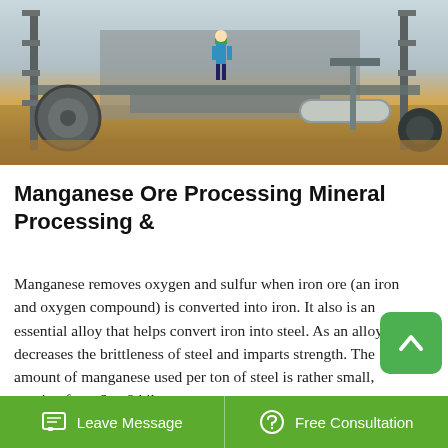[Figure (photo): Industrial mining or construction site with heavy machinery, metal framework, pipes, and a worker in safety gear visible in the background]
Manganese Ore Processing Mineral Processing &
Manganese removes oxygen and sulfur when iron ore (an iron and oxygen compound) is converted into iron. It also is an essential alloy that helps convert iron into steel. As an alloy, it decreases the brittleness of steel and imparts strength. The amount of manganese used per ton of steel is rather small, ranging from 6 to 9 kilograms.
Mar 31, 2020 Sometimes one material is combined
Leave Message   Free Consultation